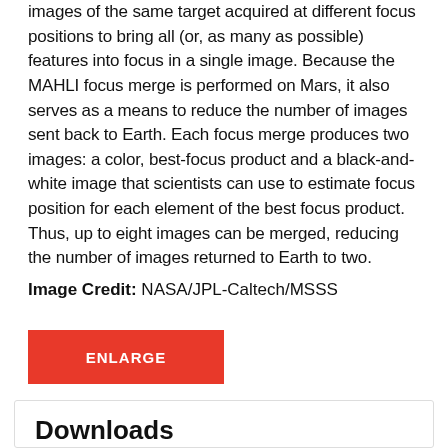images of the same target acquired at different focus positions to bring all (or, as many as possible) features into focus in a single image. Because the MAHLI focus merge is performed on Mars, it also serves as a means to reduce the number of images sent back to Earth. Each focus merge produces two images: a color, best-focus product and a black-and-white image that scientists can use to estimate focus position for each element of the best focus product. Thus, up to eight images can be merged, reducing the number of images returned to Earth to two.
Image Credit: NASA/JPL-Caltech/MSSS
[Figure (other): Red ENLARGE button]
Downloads
Sol 2991: Mars Hand Lens Imager (MAHLI)